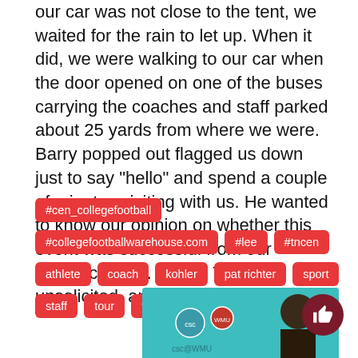our car was not close to the tent, we waited for the rain to let up. When it did, we were walking to our car when the door opened on one of the buses carrying the coaches and staff parked about 25 yards from where we were. Barry popped out flagged us down just to say “hello” and spend a couple of minutes visiting with us. He wanted to know our opinion on whether this event was successful from our perspective. … It was! Totally unsolicited, and unexpected!
#cen_collegefootball
#collegefootballwarehouse.com
#lee
#tncen
athlete
coach
kohler
pat richter
sport
staff
tour
tournament
[Figure (photo): Bottom partial image showing a teal/turquoise background with logos and a person with curly hair, partially visible]